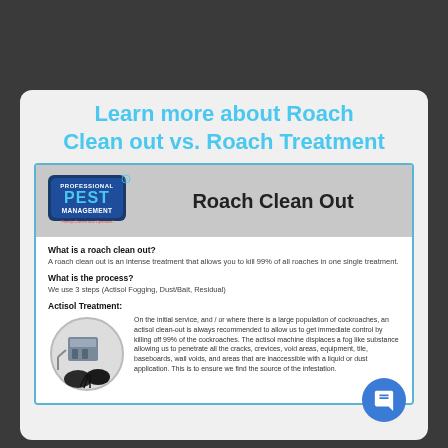Learn more about Roach Clean out vs. Roach Treatment
[Figure (logo): Professional Pest Management logo with shield and text, 'Family Owned and Operated']
Roach Clean Out
What is a roach clean out?
A roach clean out is an intense treatment that allows you to kill 99% of all roaches in one single treatment.
What is the process?
We use 3 steps  (Actisol Fogging, Dust/Bait, Residual)
Actisol Treatment:
[Figure (photo): Actisol machine/equipment photo with circular frame]
On the initial service, and / or where there is a large population of cockroaches, an actisol clean-out is always recommended to allow us to get immediate control by killing off 99% of the cockroaches. The actisol machine displaces a fog like substance allowing us to penetrate all the cracks, crevices, void areas, equipment, tile, baseboards, wall voids, and areas that are inaccessible with a liquid or dust application. This is to ensure we find the source of the infestation.